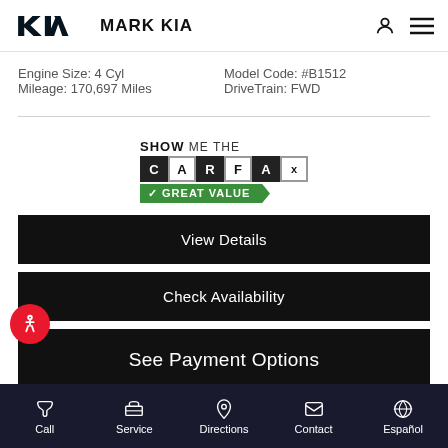[Figure (logo): Kia logo and Mark Kia dealership name in header]
Engine Size: 4 Cyl
Mileage: 170,697 Miles
Model Code: #B1512
DriveTrain: FWD
[Figure (logo): Show Me The CARFAX - Great Value badge]
View Details
Check Availability
See Payment Options
Call  Service  Directions  Contact  Español